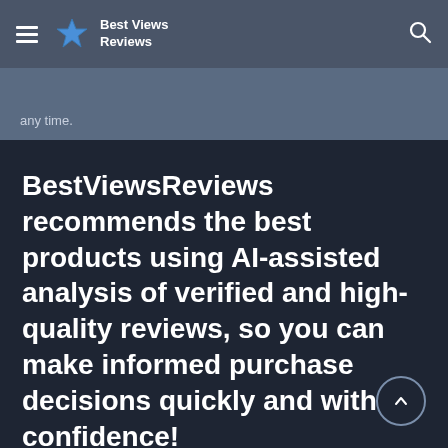Best Views Reviews
any time.
BestViewsReviews recommends the best products using AI-assisted analysis of verified and high-quality reviews, so you can make informed purchase decisions quickly and with confidence!